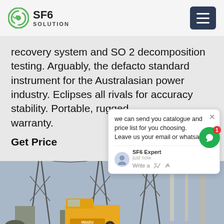SF6 SOLUTION
recovery system and SO 2 decomposition testing. Arguably, the defacto standard instrument for the Australasian power industry. Eclipses all rivals for accuracy stability. Portable, rugged, warranty.
Get Price
[Figure (screenshot): Chat popup overlay with message: 'we can send you catalogue and price list for you choosing. Leave us your email or whatsapp .' Signed SF6 Expert, just now. With avatar, thumbs up and paperclip icons, and a green circle chat button with badge showing 1.]
[Figure (photo): Outdoor electrical substation with large transmission towers, lattice steel structures, overhead power lines, and a yellow ISUZU truck in the foreground.]